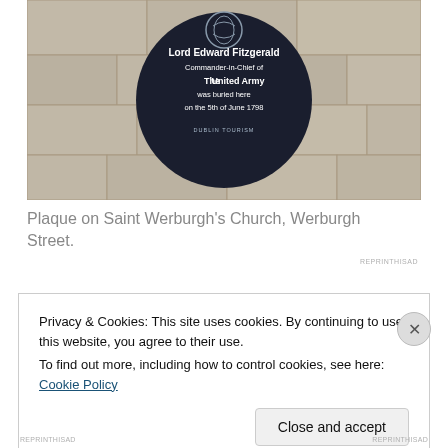[Figure (photo): A dark circular commemorative plaque mounted on a stone wall. The plaque reads: 'Lord Edward Fitzgerald, Commander-in-Chief of The United Army, was buried here on the 5th of June 1798. DUBLIN TOURISM'. The plaque has a crest at the top.]
Plaque on Saint Werburgh's Church, Werburgh Street.
Privacy & Cookies: This site uses cookies. By continuing to use this website, you agree to their use.
To find out more, including how to control cookies, see here: Cookie Policy